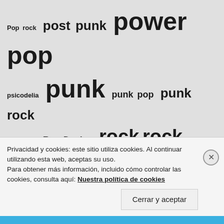[Figure (infographic): Tag cloud with music genre and band name tags in various font sizes indicating frequency/popularity. Tags include: Pop rock, post punk, power pop, psicodelia, punk, punk pop, punk rock, Ramones, Ray Davies, rock, rock alternativo, rock and roll, rock psicodélico, shoegaze, ska, soul, surf rock, The Beatles, The Kinks, The Rolling Stones, The Strokes, Weezer]
Privacidad y cookies: este sitio utiliza cookies. Al continuar utilizando esta web, aceptas su uso.
Para obtener más información, incluido cómo controlar las cookies, consulta aquí: Nuestra política de cookies
Cerrar y aceptar